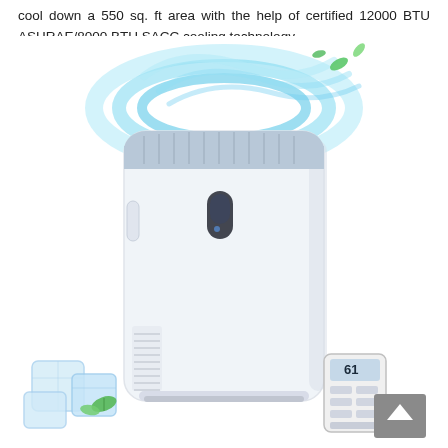cool down a 550 sq. ft area with the help of certified 12000 BTU ASHRAE/8000 BTU SACC cooling technology.
[Figure (photo): Product photo of a white portable air conditioner unit with blue/teal swirling cool air effect at the top, green leaves floating, ice cubes and mint leaves at the bottom left, and a remote control with LCD display at the bottom right. A scroll-to-top arrow button overlay is visible in the bottom right corner.]